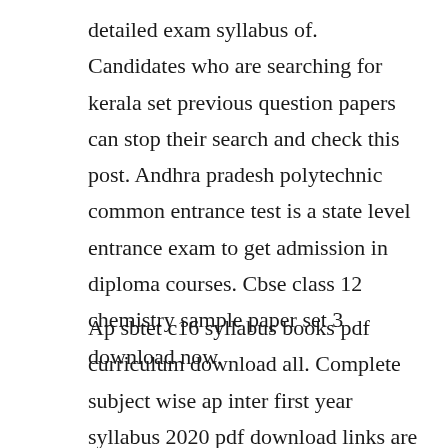detailed exam syllabus of. Candidates who are searching for kerala set previous question papers can stop their search and check this post. Andhra pradesh polytechnic common entrance test is a state level entrance exam to get admission in diploma courses. Cbse class 12 chemistry sample paper set 3 download now.
Ap sbtet c16 syllabus books pdf curriculum download all. Complete subject wise ap inter first year syllabus 2020 pdf download links are attached at the end of the page. Andhra